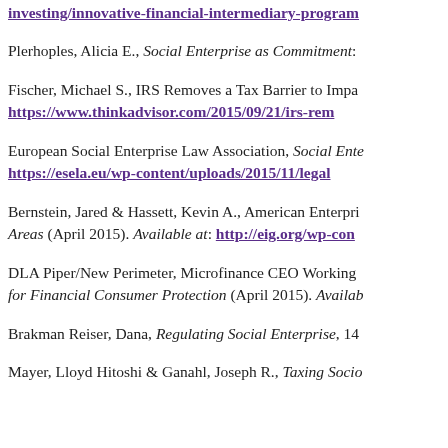investing/innovative-financial-intermediary-program (link, truncated)
Plerhoples, Alicia E., Social Enterprise as Commitment: (truncated)
Fischer, Michael S., IRS Removes a Tax Barrier to Impa… https://www.thinkadvisor.com/2015/09/21/irs-rem… (truncated)
European Social Enterprise Law Association, Social Ente… https://esela.eu/wp-content/uploads/2015/11/legal… (truncated)
Bernstein, Jared & Hassett, Kevin A., American Enterpri… Areas (April 2015). Available at: http://eig.org/wp-con… (truncated)
DLA Piper/New Perimeter, Microfinance CEO Working … for Financial Consumer Protection (April 2015). Availab… (truncated)
Brakman Reiser, Dana, Regulating Social Enterprise, 14 (truncated)
Mayer, Lloyd Hitoshi & Ganahl, Joseph R., Taxing Socio… (truncated)